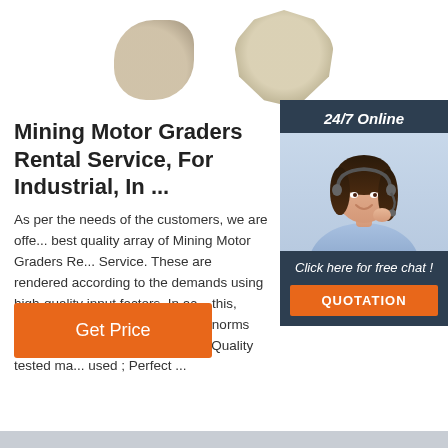[Figure (photo): Two product images (gear/bolt components) shown at top of page]
[Figure (photo): Customer service representative with headset, 24/7 Online panel on right side with chat and quotation buttons]
Mining Motor Graders Rental Service, For Industrial, In ...
As per the needs of the customers, we are offering best quality array of Mining Motor Graders Rental Service. These are rendered according to the demands using high-quality input factors. In addition to this, these are offered as per industry norms and at leading prices. Other details: Quality tested materials used ; Perfect ...
Get Price